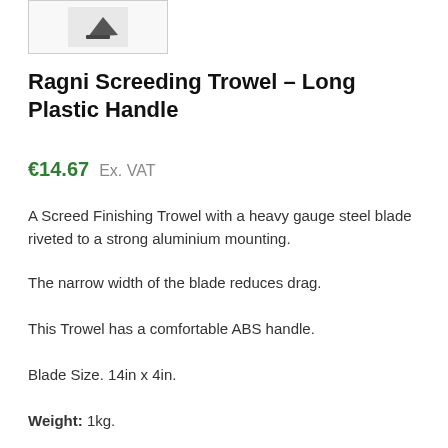[Figure (photo): Partial product image of the Ragni Screeding Trowel in the top-left corner, cropped]
Ragni Screeding Trowel – Long Plastic Handle
€14.67   Ex. VAT
A Screed Finishing Trowel with a heavy gauge steel blade riveted to a strong aluminium mounting.
The narrow width of the blade reduces drag.
This Trowel has a comfortable ABS handle.
Blade Size. 14in x 4in.
Weight: 1kg.